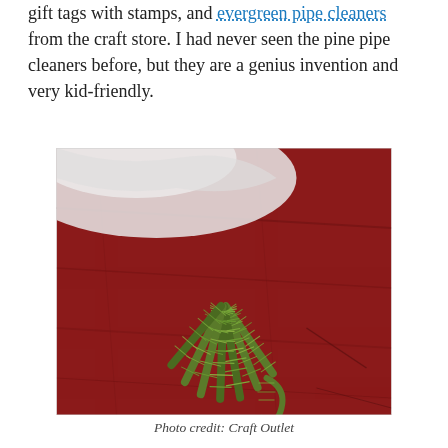gift tags with stamps, and evergreen pipe cleaners from the craft store. I had never seen the pine pipe cleaners before, but they are a genius invention and very kid-friendly.
[Figure (photo): Several green evergreen pipe cleaners (pine-shaped fuzzy craft wires) arranged in a fan/bundle on a red painted wooden surface, with a white cloth visible in the background.]
Photo credit: Craft Outlet